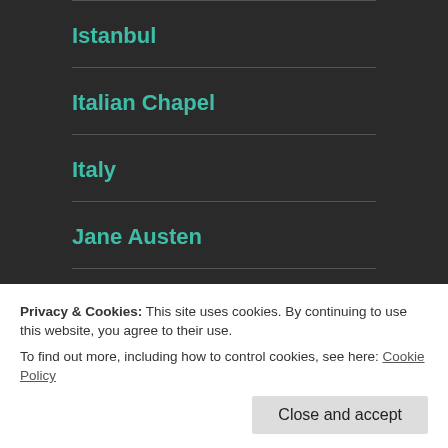Istanbul
Italian Chapel
Italy
Jane Austen
Kew gardens
Kew Gardens (partial)
Langstone Mill (partial)
Privacy & Cookies: This site uses cookies. By continuing to use this website, you agree to their use.
To find out more, including how to control cookies, see here: Cookie Policy
Close and accept